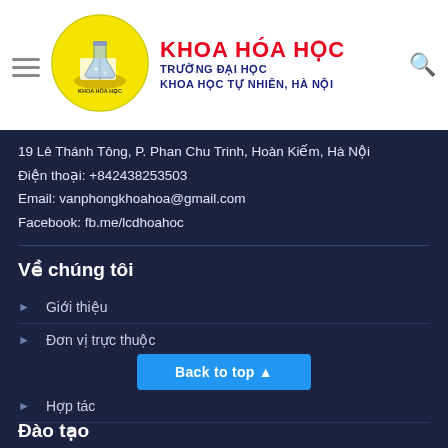[Figure (logo): Khoa Hoa Hoc logo - yellow circle with book and flask illustration]
KHOA HÓA HỌC
TRƯỜNG ĐẠI HỌC
KHOA HỌC TỰ NHIÊN, HÀ NỘI
19 Lê Thánh Tông, Phan Chu Trinh, Hoàn Kiếm, Hà Nội
Điện thoại: +842438253503
Email: vanphongkhoahoa@gmail.com
Facebook: fb.me/lcdhoahoc
Về chúng tôi
Giới thiệu
Đơn vị trực thuộc
Đội ngũ cán bộ
Hợp tác
Back to top ▲
Đào tạo